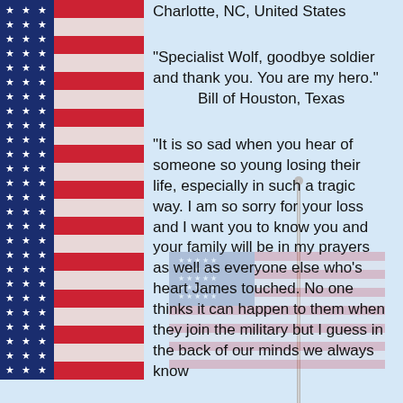[Figure (illustration): American flag border on left side with blue star field and red/white stripes, plus a faded American flag watermark in the background]
Charlotte, NC, United States
"Specialist Wolf, goodbye soldier and thank you. You are my hero."
        Bill of Houston, Texas
"It is so sad when you hear of someone so young losing their life, especially in such a tragic way. I am so sorry for your loss and I want you to know you and your family will be in my prayers as well as everyone else who's heart James touched. No one thinks it can happen to them when they join the military but I guess in the back of our minds we always know